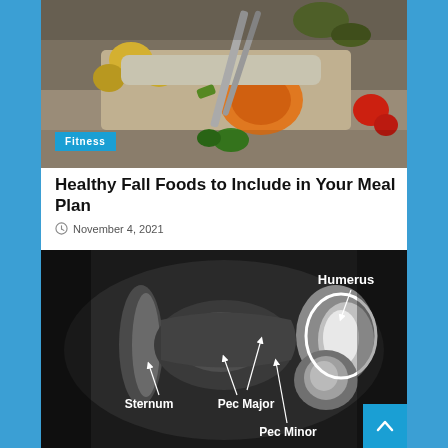[Figure (photo): Photo of healthy fall foods including roasted vegetables, squash, tomatoes, potatoes, and fish on a tray with a blue 'Fitness' badge overlay]
Healthy Fall Foods to Include in Your Meal Plan
November 4, 2021
[Figure (photo): Medical MRI/X-ray image of chest anatomy with labeled arrows pointing to Sternum, Pec Major, Pec Minor, and Humerus]